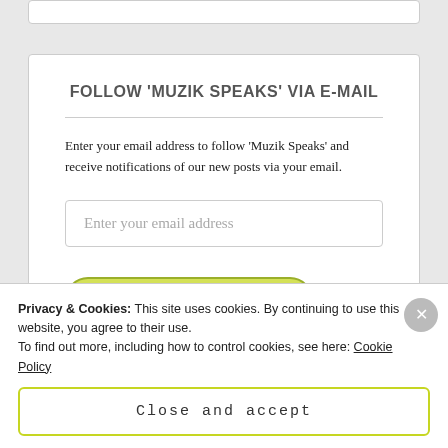FOLLOW 'MUZIK SPEAKS' VIA E-MAIL
Enter your email address to follow 'Muzik Speaks' and receive notifications of our new posts via your email.
Enter your email address
PLEASE FOLLOW US :-)
Privacy & Cookies: This site uses cookies. By continuing to use this website, you agree to their use.
To find out more, including how to control cookies, see here: Cookie Policy
Close and accept